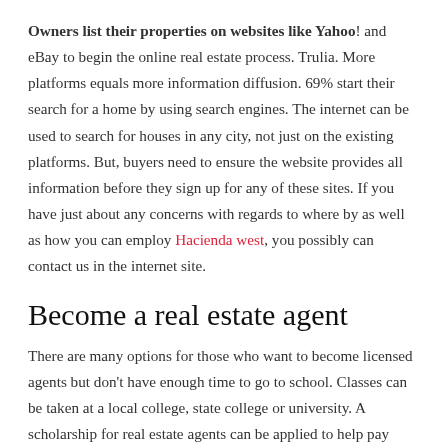Owners list their properties on websites like Yahoo! and eBay to begin the online real estate process. Trulia. More platforms equals more information diffusion. 69% start their search for a home by using search engines. The internet can be used to search for houses in any city, not just on the existing platforms. But, buyers need to ensure the website provides all information before they sign up for any of these sites. If you have just about any concerns with regards to where by as well as how you can employ Hacienda west, you possibly can contact us in the internet site.
Become a real estate agent
There are many options for those who want to become licensed agents but don't have enough time to go to school. Classes can be taken at a local college, state college or university. A scholarship for real estate agents can be applied to help pay some of the costs of your education. Most courses for real estate agents last 60-90 minutes and take three-to six months to complete.